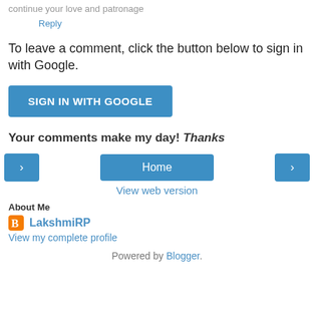continue your love and patronage
Reply
To leave a comment, click the button below to sign in with Google.
SIGN IN WITH GOOGLE
Your comments make my day! Thanks
[Figure (other): Navigation buttons: left arrow, Home, right arrow]
View web version
About Me
LakshmiRP
View my complete profile
Powered by Blogger.